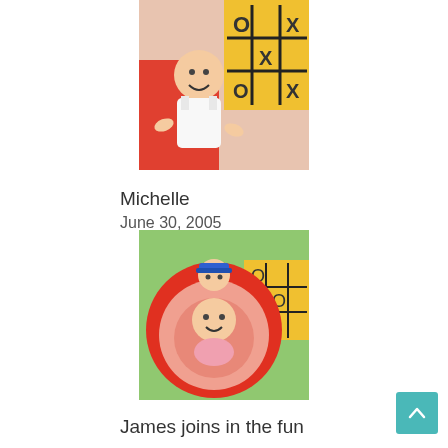[Figure (photo): Baby/toddler at a playground with colorful tic-tac-toe game board visible, wearing white sleeveless top]
Michelle
June 30, 2005
[Figure (photo): Baby crawling inside a red circular tunnel/portal at playground, person with blue cap visible behind, tic-tac-toe board in background]
James joins in the fun
June 30, 2005
[Figure (photo): Young boy wearing blue baseball cap and sunglasses, red shirt, mouth open, hand near face]
A great day at the park